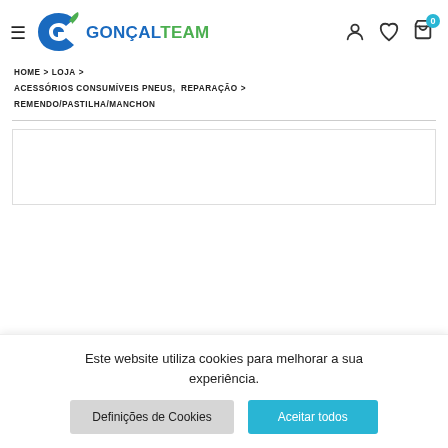[Figure (logo): GonçalTeam logo with stylized G in blue and green, with text GONÇAL in blue bold and TEAM in green bold]
HOME > LOJA > ACESSÓRIOS CONSUMÍVEIS PNEUS, REPARAÇÃO > REMENDO/PASTILHA/MANCHON
Este website utiliza cookies para melhorar a sua experiência.
Definições de Cookies
Aceitar todos